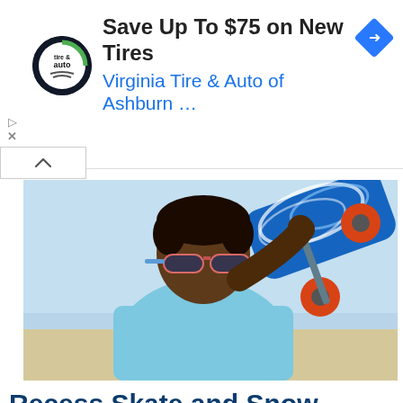[Figure (screenshot): Advertisement banner for Virginia Tire & Auto of Ashburn showing logo, headline 'Save Up To $75 on New Tires', subheading 'Virginia Tire & Auto of Ashburn ...', with navigation arrow icon on right, and ad control icons (play/close) on left.]
[Figure (photo): A young Black man wearing pink/salmon sunglasses and a light blue t-shirt holds a skateboard with red wheels over his shoulder at a beach location. The skateboard has a blue wave graphic design.]
Recess Skate and Snow Skateboard Shop, Boone, NC